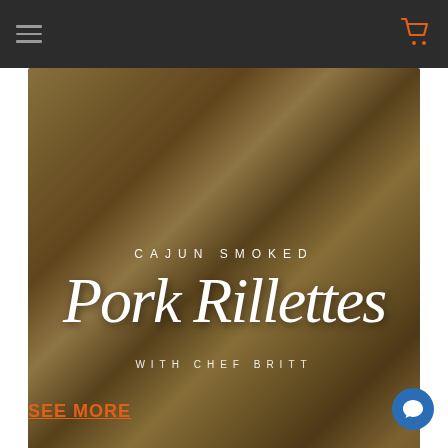Navigation header with hamburger menu and cart icon
[Figure (photo): Food photography showing Cajun Smoked Pork Rillettes on toast/bread, served on a plate, with overlay text 'CAJUN SMOKED', 'Pork Rillettes' in script font, and 'WITH CHEF BRITT']
Chef Britt puts a Cajun twist on a French classic potted meat: Rillettes! She starts by creating a quick shrimp stock in the Instant Pot, then uses that to braise p
SEE MORE